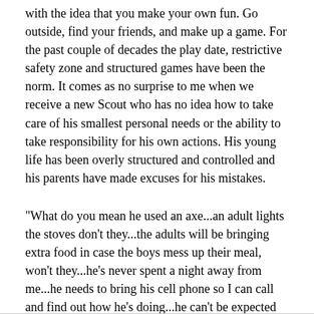with the idea that you make your own fun. Go outside, find your friends, and make up a game. For the past couple of decades the play date, restrictive safety zone and structured games have been the norm. It comes as no surprise to me when we receive a new Scout who has no idea how to take care of his smallest personal needs or the ability to take responsibility for his own actions. His young life has been overly structured and controlled and his parents have made excuses for his mistakes.
"What do you mean he used an axe...an adult lights the stoves don't they...the adults will be bringing extra food in case the boys mess up their meal, won't they...he's never spent a night away from me...he needs to bring his cell phone so I can call and find out how he's doing...he can't be expected to take care of all that himself..." etc. etc. etc.
Those kind of remarks used to surprise me. Not anymore.